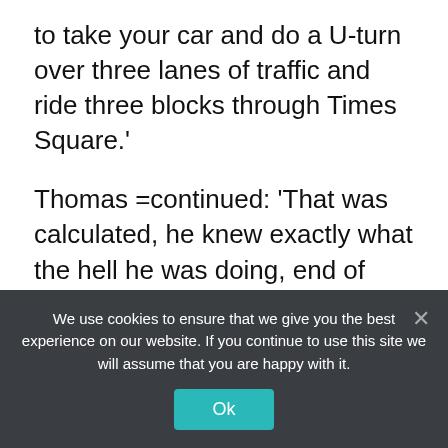to take your car and do a U-turn over three lanes of traffic and ride three blocks through Times Square.'
Thomas =continued: 'That was calculated, he knew exactly what the hell he was doing, end of story.'
In a separate interview with the New York Post, Thomas Elsman said: 'You killed my daughter and my other daughter has scars for the rest of her life, let alone she doesn't have her sister with her so that's it, that's it
We use cookies to ensure that we give you the best experience on our website. If you continue to use this site we will assume that you are happy with it.